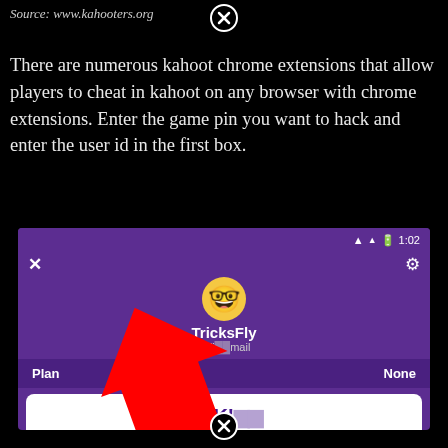Source: www.kahooters.org
There are numerous kahoot chrome extensions that allow players to cheat in kahoot on any browser with chrome extensions. Enter the game pin you want to hack and enter the user id in the first box.
[Figure (screenshot): Screenshot of Kahoot mobile app showing user profile 'TricksFly' with loffi...mail email, Plan: None, and a promotional card 'Create more engaging kahoots - Add slides, polls, puzzles, and premium m...' with a red arrow annotation pointing to the email area]